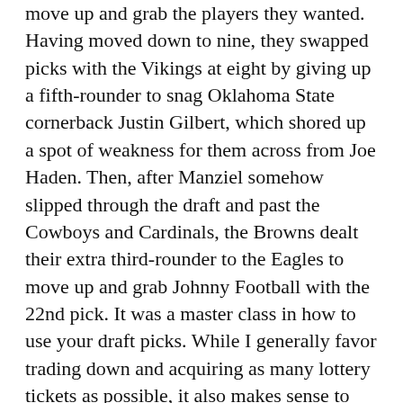move up and grab the players they wanted. Having moved down to nine, they swapped picks with the Vikings at eight by giving up a fifth-rounder to snag Oklahoma State cornerback Justin Gilbert, which shored up a spot of weakness for them across from Joe Haden. Then, after Manziel somehow slipped through the draft and past the Cowboys and Cardinals, the Browns dealt their extra third-rounder to the Eagles to move up and grab Johnny Football with the 22nd pick. It was a master class in how to use your draft picks. While I generally favor trading down and acquiring as many lottery tickets as possible, it also makes sense to occasionally trade up and grab a player who you think might represent a sound value proposition at a given point in the draft. At 22, grabbing a player like Manziel makes a lot of sense.
The Jaguars had the same opportunity to trade down and chose not to, which certainly seems like the wrong decision.